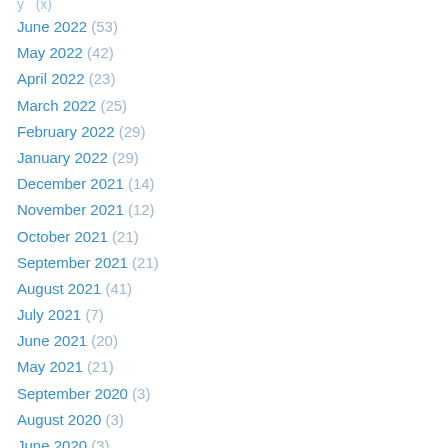June 2022 (53)
May 2022 (42)
April 2022 (23)
March 2022 (25)
February 2022 (29)
January 2022 (29)
December 2021 (14)
November 2021 (12)
October 2021 (21)
September 2021 (21)
August 2021 (41)
July 2021 (7)
June 2021 (20)
May 2021 (21)
September 2020 (3)
August 2020 (3)
June 2020 (3)
May 2020 (3)
March 2020 (1)
February 2020 (8)